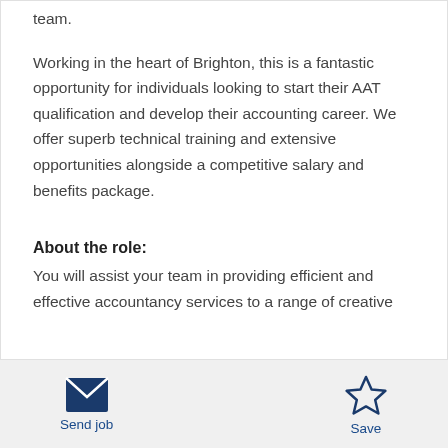team.
Working in the heart of Brighton, this is a fantastic opportunity for individuals looking to start their AAT qualification and develop their accounting career. We offer superb technical training and extensive opportunities alongside a competitive salary and benefits package.
About the role:
You will assist your team in providing efficient and effective accountancy services to a range of creative clients.
Send job  Save